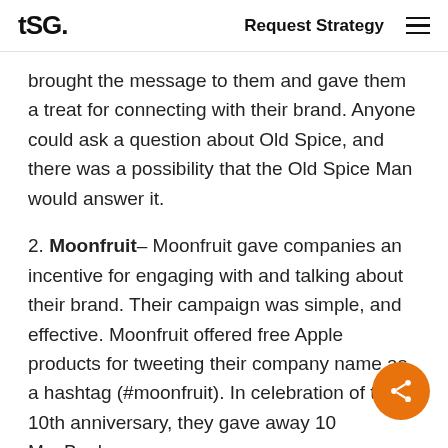tSG. | Request Strategy
brought the message to them and gave them a treat for connecting with their brand. Anyone could ask a question about Old Spice, and there was a possibility that the Old Spice Man would answer it.
2. Moonfruit– Moonfruit gave companies an incentive for engaging with and talking about their brand. Their campaign was simple, and effective. Moonfruit offered free Apple products for tweeting their company name as a hashtag (#moonfruit). In celebration of their 10th anniversary, they gave away 10 MacBook